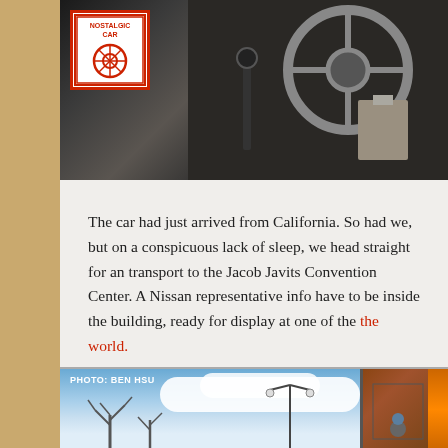[Figure (photo): Top portion: vintage car interior showing steering wheel and gear shift, with a 'Nostalgic Car' red badge/logo in the upper left corner]
The car had just arrived from California. So had we, but on a conspicuous lack of sleep, we head straight for an transport to the Jacob Javits Convention Center. A Nissan representative info have to be inside the building, ready for display at one of the the world.
[Figure (photo): Street scene with blue sky and white clouds, bare trees, street lamp, and a transport truck on the right side — appears to be near the Jacob Javits Convention Center in New York. Photo credit: BEN HSU]